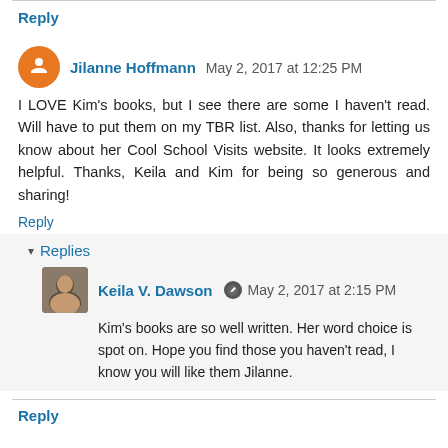Reply
Jilanne Hoffmann May 2, 2017 at 12:25 PM
I LOVE Kim's books, but I see there are some I haven't read. Will have to put them on my TBR list. Also, thanks for letting us know about her Cool School Visits website. It looks extremely helpful. Thanks, Keila and Kim for being so generous and sharing!
Reply
Replies
Keila V. Dawson May 2, 2017 at 2:15 PM
Kim's books are so well written. Her word choice is spot on. Hope you find those you haven't read, I know you will like them Jilanne.
Reply